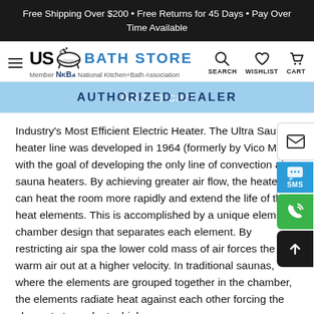Free Shipping Over $200 • Free Returns for 45 Days • Pay Over Time Available
[Figure (logo): US Bath Store logo with hamburger menu, bathtub icon, BATH STORE text in blue, NKBA member text, and nav icons for Search, Wishlist, Cart]
AUTHORIZED DEALER
Industry's Most Efficient Electric Heater. The Ultra Sauna heater line was developed in 1964 (formerly by Vico Mfg.) with the goal of developing the only line of convection air-sauna heaters. By achieving greater air flow, the heater can heat the room more rapidly and extend the life of the heat elements. This is accomplished by a unique element chamber design that separates each element. By restricting air spa the lower cold mass of air forces the warm air out at a higher velocity. In traditional saunas, where the elements are grouped together in the chamber, the elements radiate heat against each other forcing the elements to work at a higher